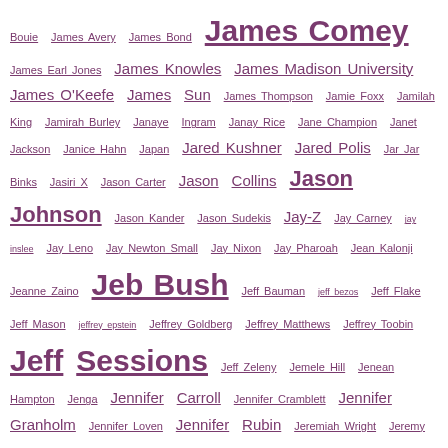Bouie James Avery James Bond James Comey James Earl Jones James Knowles James Madison University James O'Keefe James Sun James Thompson Jamie Foxx Jamilah King Jamirah Burley Janaye Ingram Janay Rice Jane Champion Janet Jackson Janice Hahn Japan Jared Kushner Jared Polis Jar Jar Binks Jasiri X Jason Carter Jason Collins Jason Johnson Jason Kander Jason Sudekis Jay-Z Jay Carney jay inslee Jay Leno Jay Newton Small Jay Nixon Jay Pharoah Jean Kalonji Jeanne Zaino Jeb Bush Jeff Bauman jeff bezos Jeff Flake Jeff Mason jeffrey epstein Jeffrey Goldberg Jeffrey Matthews Jeffrey Toobin Jeff Sessions Jeff Zeleny Jemele Hill Jenean Hampton Jenga Jennifer Carroll Jennifer Cramblett Jennifer Granholm Jennifer Loven Jennifer Rubin Jeremiah Wright Jeremy Corbyn Jeremy Diamond Jeremy Lin Jeremy Peters jerks in business Jeronimo Yanez Jerry Reese Jerry Richardson Jerry Sandusky Jerusalem Jesse Jackson Jesse Jackson Jr. Jesse Lee Peterson Jessica Marie Beers Jessica Mickles jezebel jigaboo Jill Kelley Jill Scott Jill Stein Jill Vogel Jim Acosta Jim Caldwell Jim Calhoun Jim Crow Jim Lehrer Jimmy Fallon Jimmy Kimmel Jimmy Two Times Jimmy Williams Jim Sensenbrenner Jim Webb Jive Records Joan Walsh